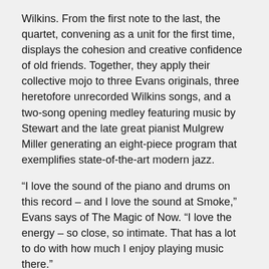Wilkins. From the first note to the last, the quartet, convening as a unit for the first time, displays the cohesion and creative confidence of old friends. Together, they apply their collective mojo to three Evans originals, three heretofore unrecorded Wilkins songs, and a two-song opening medley featuring music by Stewart and the late great pianist Mulgrew Miller generating an eight-piece program that exemplifies state-of-the-art modern jazz.
“I love the sound of the piano and drums on this record – and I love the sound at Smoke,” Evans says of The Magic of Now. “I love the energy – so close, so intimate. That has a lot to do with how much I enjoy playing music there.”
Personnel